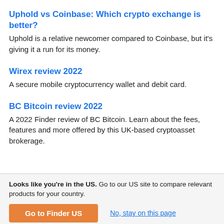Uphold vs Coinbase: Which crypto exchange is better?
Uphold is a relative newcomer compared to Coinbase, but it's giving it a run for its money.
Wirex review 2022
A secure mobile cryptocurrency wallet and debit card.
BC Bitcoin review 2022
A 2022 Finder review of BC Bitcoin. Learn about the fees, features and more offered by this UK-based cryptoasset brokerage.
Looks like you're in the US. Go to our US site to compare relevant products for your country.
Go to Finder US
No, stay on this page